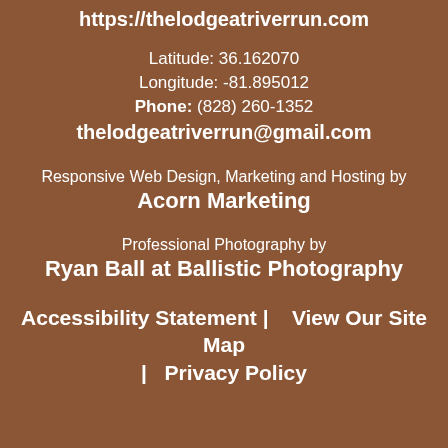https://thelodgeatriverrun.com
Latitude: 36.162070
Longitude: -81.895012
Phone: (828) 260-1352
thelodgeatriverrun@gmail.com
Responsive Web Design, Marketing and Hosting by Acorn Marketing
Professional Photography by Ryan Ball at Ballistic Photography
Accessibility Statement |   View Our Site Map |   Privacy Policy